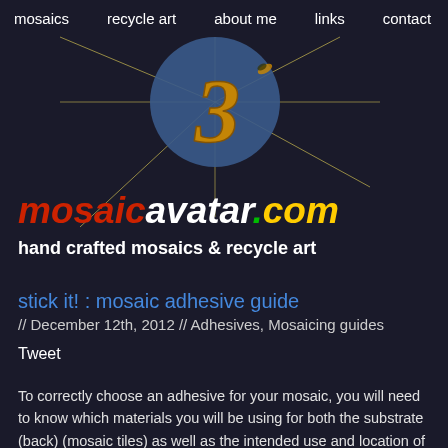mosaics   recycle art   about me   links   contact
[Figure (logo): mosaicavatar.com website logo — a blue circle with a golden '3' figure and starburst/compass lines, with colorful site title text 'mosaicavatar.com' and tagline 'hand crafted mosaics & recycle art']
stick it! : mosaic adhesive guide
// December 12th, 2012 // Adhesives, Mosaicing guides
Tweet
To correctly choose an adhesive for your mosaic, you will need to know which materials you will be using for both the substrate (back) and tesserae (mosaic tiles) as well as the intended use and location of the mosaic.